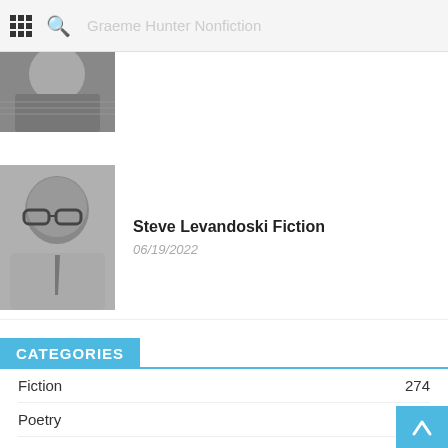Graeme Hunter Nonfiction
[Figure (photo): Partially visible black and white portrait photo, cropped at top]
Steve Levandoski Fiction
06/19/2022
CATEGORIES
Fiction 274
Poetry 208
Nonfiction 118
Creative Nonfiction 89
Artwork 62
Interview 18